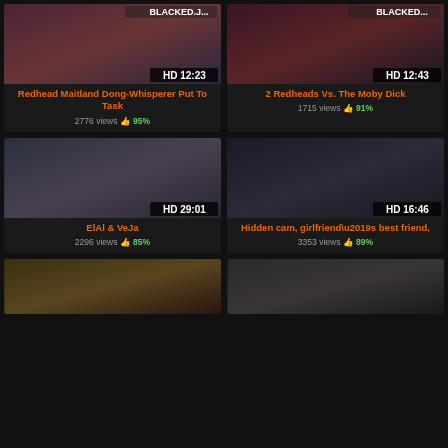[Figure (screenshot): Video thumbnail 1: Redhead Maitland Dong-Whisperer Put To Task, HD 12:23]
Redhead Maitland Dong-Whisperer Put To Task
2776 views 95%
[Figure (screenshot): Video thumbnail 2: 2 Redheads Vs. The Moby Dick, HD 12:43]
2 Redheads Vs. The Moby Dick
1715 views 91%
[Figure (screenshot): Video thumbnail 3: ElAl & VeJa, HD 29:01]
ElAl & VeJa
2296 views 85%
[Figure (screenshot): Video thumbnail 4: Hidden cam, girlfriend\u2019s best friend, HD 16:46]
Hidden cam, girlfriend\u2019s best friend,
3353 views 89%
[Figure (screenshot): Video thumbnail 5: partial view, bottom left]
[Figure (screenshot): Video thumbnail 6: partial view, bottom right]